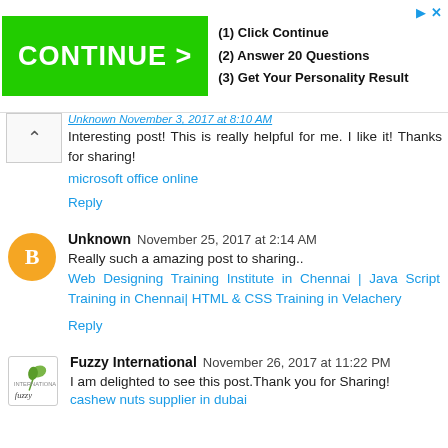[Figure (infographic): Advertisement banner with green 'CONTINUE >' button and steps: (1) Click Continue, (2) Answer 20 Questions, (3) Get Your Personality Result]
Unknown November 3, 2017 at 8:10 AM (partial, cut off at top)
Interesting post! This is really helpful for me. I like it! Thanks for sharing!
microsoft office online
Reply
Unknown November 25, 2017 at 2:14 AM
Really such a amazing post to sharing..
Web Designing Training Institute in Chennai | Java Script Training in Chennai| HTML & CSS Training in Velachery
Reply
Fuzzy International November 26, 2017 at 11:22 PM
I am delighted to see this post.Thank you for Sharing!
cashew nuts supplier in dubai